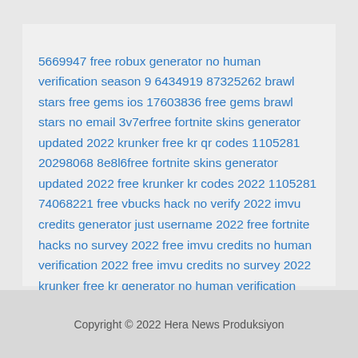5669947 free robux generator no human verification season 9 6434919 87325262 brawl stars free gems ios 17603836 free gems brawl stars no email 3v7erfree fortnite skins generator updated 2022 krunker free kr qr codes 1105281 20298068 8e8l6free fortnite skins generator updated 2022 free krunker kr codes 2022 1105281 74068221 free vbucks hack no verify 2022 imvu credits generator just username 2022 free fortnite hacks no survey 2022 free imvu credits no human verification 2022 free imvu credits no survey 2022 krunker free kr generator no human verification 2022 free imvu credits generator no survey 2022 brawl stars gems free download cash app money generator legit no human verification free fire diamonds no human verification apk download
Copyright © 2022 Hera News Produksiyon